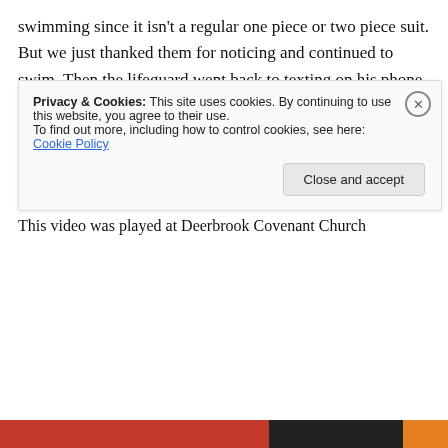swimming since it isn't a regular one piece or two piece suit. But we just thanked them for noticing and continued to swim. Then the lifeguard went back to texting on his phone the rest of the morning.
July 31, 2010   1 Reply
Video from the Anderson's
This video was played at Deerbrook Covenant Church
Privacy & Cookies: This site uses cookies. By continuing to use this website, you agree to their use.
To find out more, including how to control cookies, see here: Cookie Policy
Close and accept